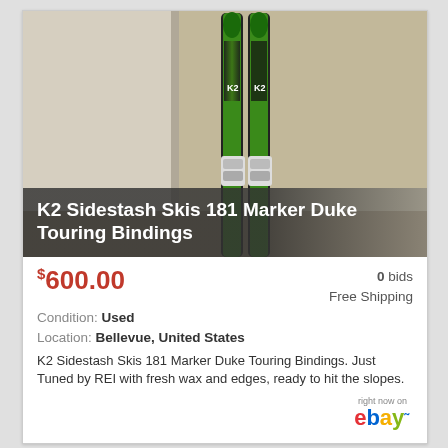[Figure (photo): Two K2 Sidestash skis with Marker Duke touring bindings leaning against a wall, green and black graphics]
K2 Sidestash Skis 181 Marker Duke Touring Bindings
$600.00   0 bids   Free Shipping
Condition: Used
Location: Bellevue, United States
K2 Sidestash Skis 181 Marker Duke Touring Bindings. Just Tuned by REI with fresh wax and edges, ready to hit the slopes.
[Figure (logo): eBay logo with 'right now on' text above]